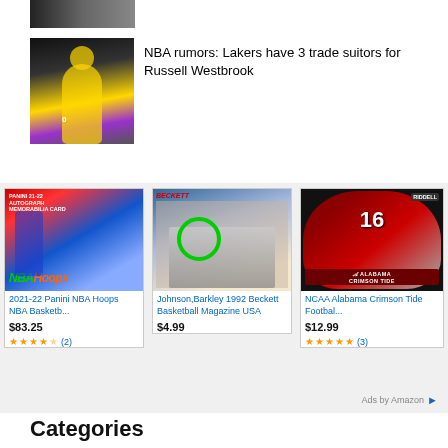[Figure (photo): Partial sports photo at top, cropped basketball scene]
[Figure (photo): Russell Westbrook in Lakers #0 yellow jersey dribbling basketball]
NBA rumors: Lakers have 3 trade suitors for Russell Westbrook
[Figure (photo): Advertisement: 2021-22 Panini NBA Hoops NBA Basketb... - $83.25 - 4.5 stars (2)]
[Figure (photo): Advertisement: Johnson,Barkley 1992 Beckett Basketball Magazine USA - $4.99]
[Figure (photo): Advertisement: NCAA Alabama Crimson Tide Footbal... - $12.99 - 5 stars (3)]
2021-22 Panini NBA Hoops NBA Basketb...
$83.25
Johnson,Barkley 1992 Beckett Basketball Magazine USA
$4.99
NCAA Alabama Crimson Tide Footbal...
$12.99
Ads by Amazon
Categories